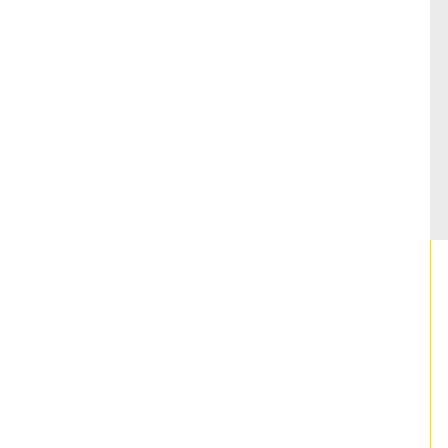[Figure (other): Left white panel with yellow vertical dividing line]
[Figure (photo): Interior photo of office space - lobby or reception area]
Boynton Beach Flori...
Type of offices: Execu...
Air Conditioning
Meeting rooms
Quantum Lakes Drive
Suite 203
Boynton Beach
Florida
33426
Executive Suites from $5...
Mizner Office Space ...
Type of offices: Execu...
Air Conditioning
Lift/elevators
Staffed reception
N. Dixie Highway
Boca Raton
Florida
33432
Call for Executive Suites...
Boca Raton Office Sp...